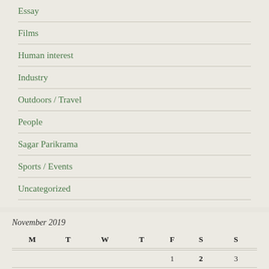Essay
Films
Human interest
Industry
Outdoors / Travel
People
Sagar Parikrama
Sports / Events
Uncategorized
November 2019
| M | T | W | T | F | S | S |
| --- | --- | --- | --- | --- | --- | --- |
|  |  |  |  | 1 | 2 | 3 |
| 4 | 5 | 6 | 7 | 8 | 9 | 10 |